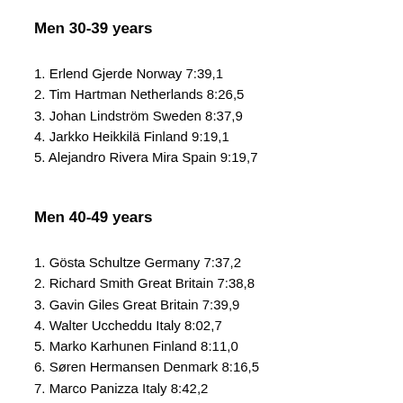Men 30-39 years
1. Erlend Gjerde Norway 7:39,1
2. Tim Hartman Netherlands 8:26,5
3. Johan Lindström Sweden 8:37,9
4. Jarkko Heikkilä Finland 9:19,1
5. Alejandro Rivera Mira Spain 9:19,7
Men 40-49 years
1. Gösta Schultze Germany 7:37,2
2. Richard Smith Great Britain 7:38,8
3. Gavin Giles Great Britain 7:39,9
4. Walter Uccheddu Italy 8:02,7
5. Marko Karhunen Finland 8:11,0
6. Søren Hermansen Denmark 8:16,5
7. Marco Panizza Italy 8:42,2